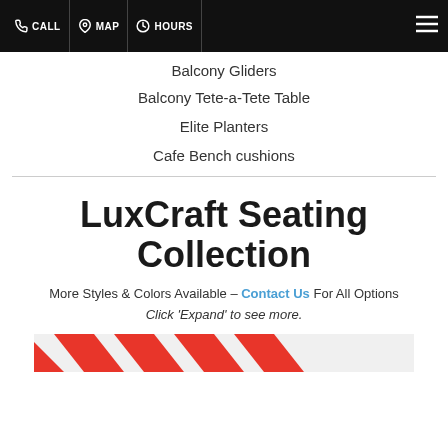CALL  MAP  HOURS
Balcony Gliders
Balcony Tete-a-Tete Table
Elite Planters
Cafe Bench cushions
LuxCraft Seating Collection
More Styles & Colors Available – Contact Us For All Options
Click 'Expand' to see more.
[Figure (photo): Partial view of red and white striped outdoor furniture or cushion at the bottom of the page]